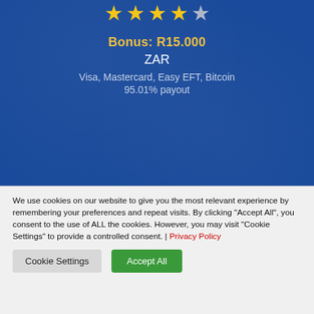[Figure (screenshot): ZAR Casino listing card with 4-star rating, bonus R15,000, ZAR currency, Visa/Mastercard/Easy EFT/Bitcoin payment methods, 95.01% payout, Review and Play Now buttons on blue background]
Bonus: R15.000
ZAR
Visa, Mastercard, Easy EFT, Bitcoin
95.01% payout
Review
Play Now
We use cookies on our website to give you the most relevant experience by remembering your preferences and repeat visits. By clicking "Accept All", you consent to the use of ALL the cookies. However, you may visit "Cookie Settings" to provide a controlled consent. | Privacy Policy
Cookie Settings
Accept All